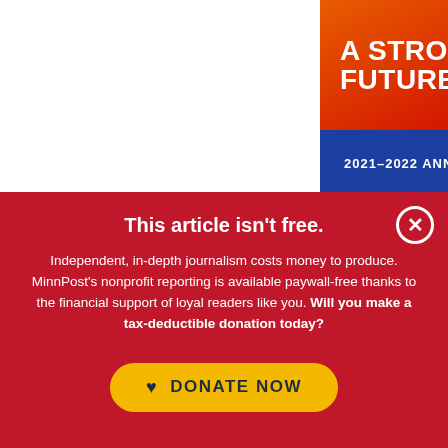[Figure (infographic): Annual report banner with red gradient box showing 'A STRONGER FUTURE.' text on blue background, with '2021-2022 ANNUAL REPORT →' link]
This article isn't free.
Independent, in-depth journalism costs money to produce. MinnPost's nonprofit reporting is available paywall-free thanks to the financial support of loyal readers like you. Will you make a tax-deductible donation today?
♥ DONATE NOW